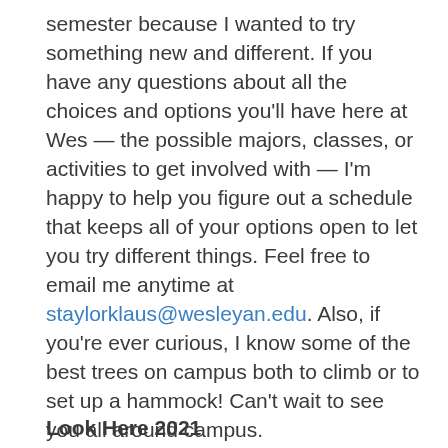semester because I wanted to try something new and different. If you have any questions about all the choices and options you'll have here at Wes — the possible majors, classes, or activities to get involved with — I'm happy to help you figure out a schedule that keeps all of your options open to let you try different things. Feel free to email me anytime at staylorklaus@wesleyan.edu. Also, if you're ever curious, I know some of the best trees on campus both to climb or to set up a hammock! Can't wait to see you all around campus.
Look Here 2021